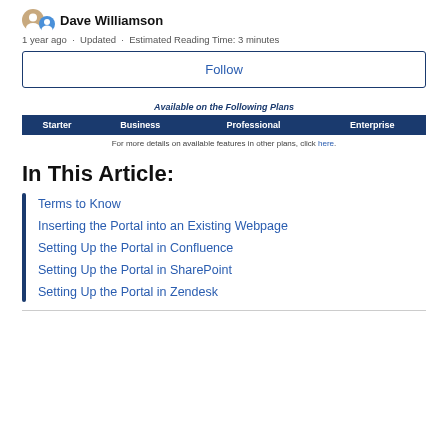Dave Williamson
1 year ago · Updated · Estimated Reading Time: 3 minutes
Follow
| Starter | Business | Professional | Enterprise |
| --- | --- | --- | --- |
For more details on available features in other plans, click here.
In This Article:
Terms to Know
Inserting the Portal into an Existing Webpage
Setting Up the Portal in Confluence
Setting Up the Portal in SharePoint
Setting Up the Portal in Zendesk